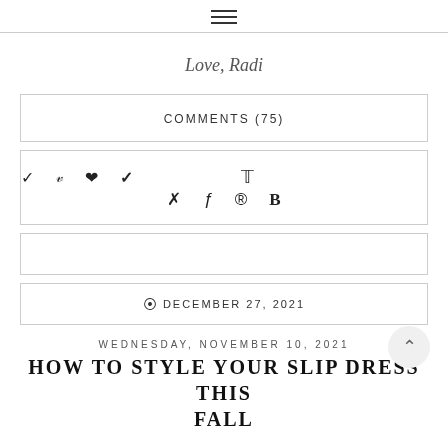≡ (hamburger menu icon)
Love, Radi
COMMENTS (75)
♦ f ⊕ B (social share icons)
⊙ DECEMBER 27, 2021
WEDNESDAY, NOVEMBER 10, 2021
HOW TO STYLE YOUR SLIP DRESS THIS FALL